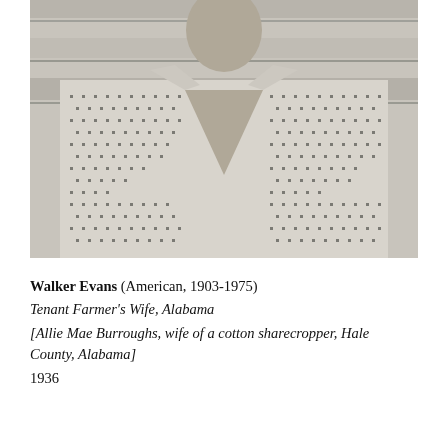[Figure (photo): Black and white photograph showing the torso and lower neck/chin of a woman wearing a patterned (small dark dots/squares on light background) collared shirt or dress, with a wooden plank wall visible in the background. The image is cropped so the face is not visible.]
Walker Evans (American, 1903-1975)
Tenant Farmer's Wife, Alabama
[Allie Mae Burroughs, wife of a cotton sharecropper, Hale County, Alabama]
1936